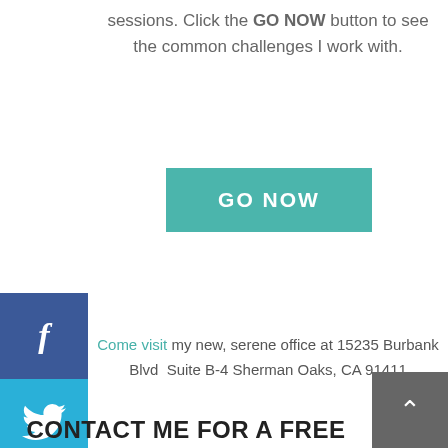sessions. Click the GO NOW button to see the common challenges I work with.
[Figure (other): GO NOW teal button]
[Figure (other): Facebook social share icon on dark blue sidebar]
[Figure (other): Twitter social share icon on light blue sidebar]
[Figure (other): LinkedIn social share icon on dark blue sidebar]
NEW LOCATION IN SHERMAN OAKS, CA
Come visit my new, serene office at 15235 Burbank Blvd Suite B-4 Sherman Oaks, CA 91411
[Figure (other): Back to top arrow button, dark grey]
CONTACT ME FOR A FREE